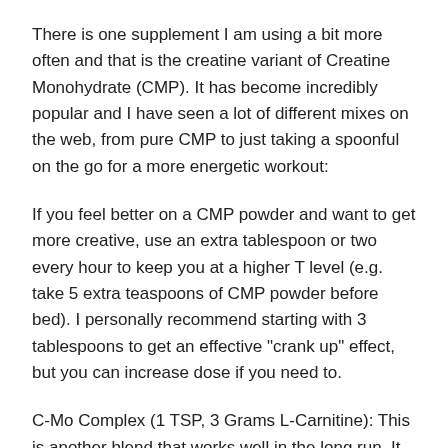There is one supplement I am using a bit more often and that is the creatine variant of Creatine Monohydrate (CMP). It has become incredibly popular and I have seen a lot of different mixes on the web, from pure CMP to just taking a spoonful on the go for a more energetic workout:
If you feel better on a CMP powder and want to get more creative, use an extra tablespoon or two every hour to keep you at a higher T level (e.g. take 5 extra teaspoons of CMP powder before bed). I personally recommend starting with 3 tablespoons to get an effective "crank up" effect, but you can increase dose if you need to.
C-Mo Complex (1 TSP, 3 Grams L-Carnitine): This is another blend that works well in the long run. It works on the same